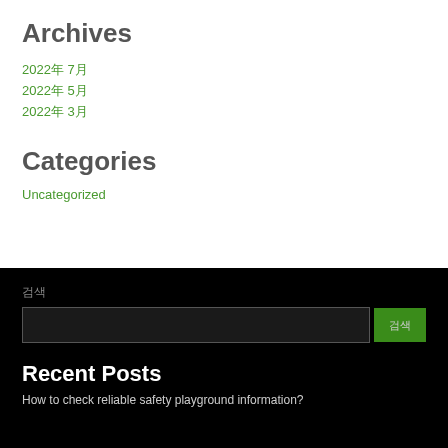Archives
2022年 7月
2022年 5月
2022年 3月
Categories
Uncategorized
검색
Recent Posts
How to check reliable safety playground information?